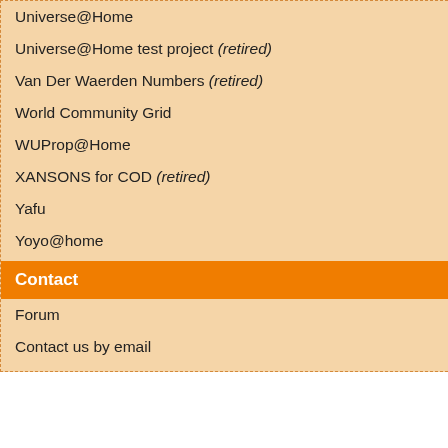Universe@Home
Universe@Home test project (retired)
Van Der Waerden Numbers (retired)
World Community Grid
WUProp@Home
XANSONS for COD (retired)
Yafu
Yoyo@home
Contact
Forum
Contact us by email
| Pos. |  |
| --- | --- |
| 14935 | Dennis |
| 14936 | Jungli |
| 14937 | Sven |
| 14938 | Bastelmatrose |
| 14939 | team_nachtfa |
| 14940 | granatapfel66 |
| 14941 | aallubbe@net |
| 14942 | Dirk |
| 14943 | Andy Gebaue |
| 14944 | Seal |
| 14945 | Sebell199 |
| 14946 | ZimbuS |
| 14947 | Administrator |
| 14948 | Wendrynn |
| 14949 | Nils |
| Pos. |  |